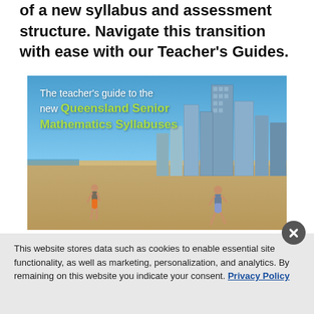of a new syllabus and assessment structure. Navigate this transition with ease with our Teacher's Guides.
[Figure (photo): Book cover image showing a Queensland beach scene with skyscrapers in the background. Text overlay reads: 'The teacher's guide to the new Queensland Senior Mathematics Syllabuses']
This website stores data such as cookies to enable essential site functionality, as well as marketing, personalization, and analytics. By remaining on this website you indicate your consent. Privacy Policy